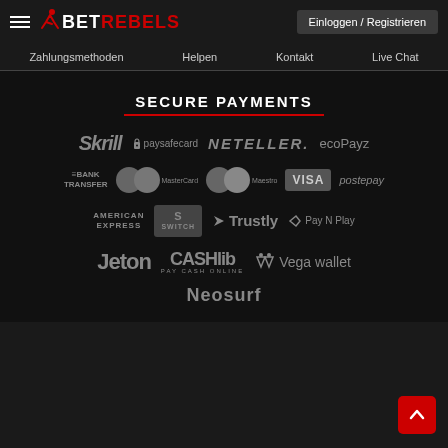BetRebels — Einloggen / Registrieren
Zahlungsmethoden   Helpen   Kontakt   Live Chat
SECURE PAYMENTS
[Figure (logo): Payment method logos: Skrill, paysafecard, NETELLER, ecoPayz, Bank Transfer, MasterCard, Maestro, VISA, postepay, American Express, Switch, Trustly, Pay N Play, Jeton, CASHlib, Vega wallet, Neosurf]